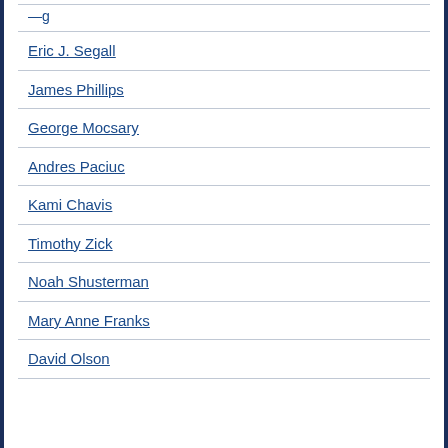Eric J. Segall
James Phillips
George Mocsary
Andres Paciuc
Kami Chavis
Timothy Zick
Noah Shusterman
Mary Anne Franks
David Olson